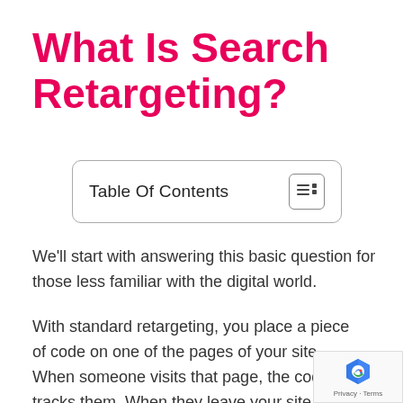What Is Search Retargeting?
Table Of Contents
We'll start with answering this basic question for those less familiar with the digital world.
With standard retargeting, you place a piece of code on one of the pages of your site. When someone visits that page, the code tracks them. When they leave your site, they see ads related to products they searched for on your website.